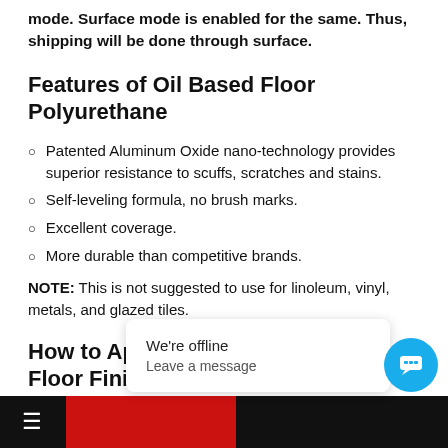mode. Surface mode is enabled for the same. Thus, shipping will be done through surface.
Features of Oil Based Floor Polyurethane
Patented Aluminum Oxide nano-technology provides superior resistance to scuffs, scratches and stains.
Self-leveling formula, no brush marks.
Excellent coverage.
More durable than competitive brands.
NOTE: This is not suggested to use for linoleum, vinyl, metals, and glazed tiles.
How to Apply Varathane Oil Based Floor Finish Polyurethane ?
Surface Prepar…